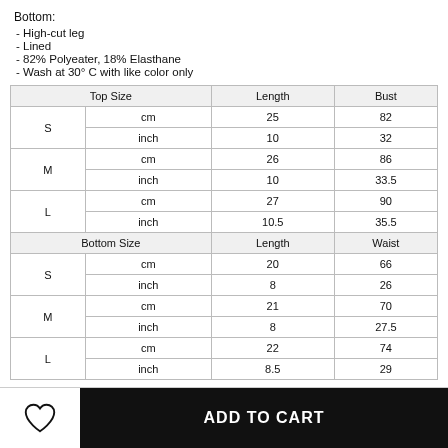Bottom:
- High-cut leg
- Lined
- 82% Polyeater, 18% Elasthane
- Wash at 30° C with like color only
| Top Size |  | Length | Bust |
| --- | --- | --- | --- |
| S | cm | 25 | 82 |
| S | inch | 10 | 32 |
| M | cm | 26 | 86 |
| M | inch | 10 | 33.5 |
| L | cm | 27 | 90 |
| L | inch | 10.5 | 35.5 |
| Bottom Size |  | Length | Waist |
| S | cm | 20 | 66 |
| S | inch | 8 | 26 |
| M | cm | 21 | 70 |
| M | inch | 8 | 27.5 |
| L | cm | 22 | 74 |
| L | inch | 8.5 | 29 |